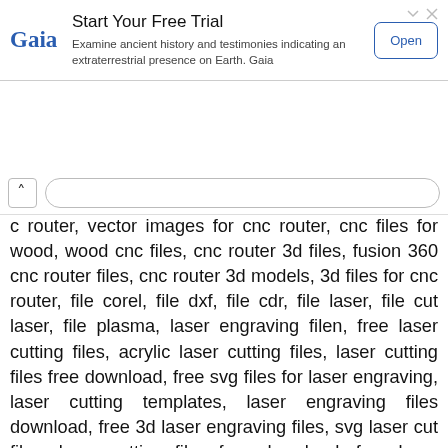[Figure (screenshot): Advertisement banner for Gaia with 'Start Your Free Trial' heading, Gaia logo, subtitle text, and Open button]
c router, vector images for cnc router, cnc files for wood, wood cnc files, cnc router 3d files, fusion 360 cnc router files, cnc router 3d models, 3d files for cnc router, file corel, file dxf, file cdr, file laser, file cut laser, file plasma, laser engraving filen, free laser cutting files, acrylic laser cutting files, laser cutting files free download, free svg files for laser engraving, laser cutting templates, laser engraving files download, free 3d laser engraving files, svg laser cut files, laser cutting files free download, free laser engraving clipart, free vector files for laser engraving, free svg files for laser engraving, laser engraving images download, laser engraving vector files, free laser engraving patterns, laser engraving file format, free 3d laser engraving files, free cnc project files, cnc file download, tap file cnc, file cnc router, 3d cnc files, cnc laser files, cnc router file sharing, cnc svg…